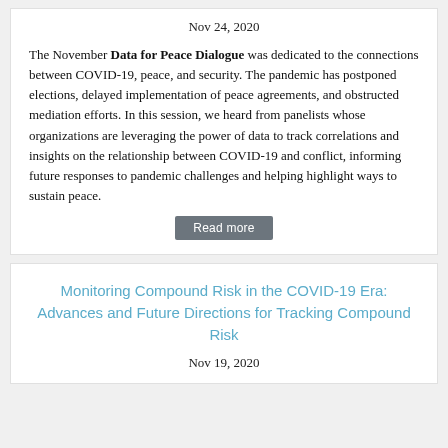Nov 24, 2020
The November Data for Peace Dialogue was dedicated to the connections between COVID-19, peace, and security. The pandemic has postponed elections, delayed implementation of peace agreements, and obstructed mediation efforts. In this session, we heard from panelists whose organizations are leveraging the power of data to track correlations and insights on the relationship between COVID-19 and conflict, informing future responses to pandemic challenges and helping highlight ways to sustain peace.
Read more
Monitoring Compound Risk in the COVID-19 Era: Advances and Future Directions for Tracking Compound Risk
Nov 19, 2020